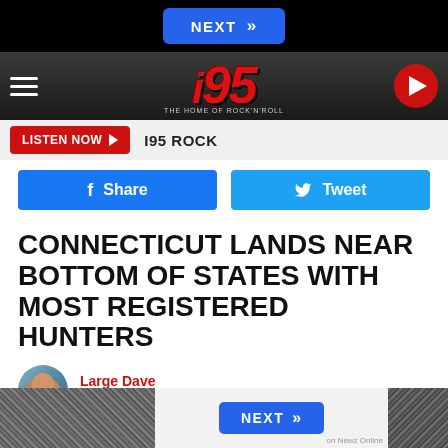[Figure (screenshot): Top black navigation bar with blue NEXT button and double chevron]
[Figure (logo): i95 Rock radio station header logo with hamburger menu and play button]
[Figure (screenshot): Listen Now button bar with I95 ROCK station name]
[Figure (screenshot): Facebook Share and Twitter Tweet social buttons]
CONNECTICUT LANDS NEAR BOTTOM OF STATES WITH MOST REGISTERED HUNTERS
Large Dave
Published: August 24, 2022
[Figure (screenshot): Bottom advertisement area with NEXT button and on Newz Online label, flanked by dark image strips]